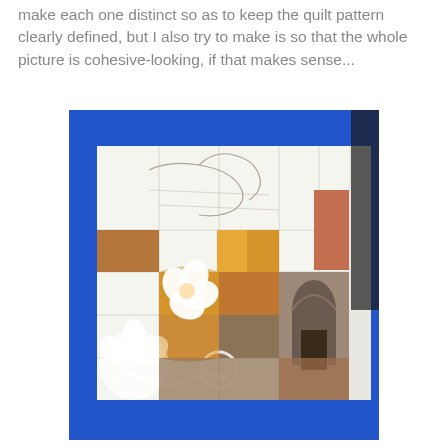make each one distinct so as to keep the quilt pattern clearly defined, but I also try to make is so that the whole picture is cohesive-looking, if that makes sense...
[Figure (photo): A work-in-progress mixed-media quilt artwork taped to a surface with blue painter's tape. The artwork shows a partially completed mosaic-style piece with warm ochre, orange, terracotta, and brown tones. Features include sketched outlines at the top, painted/collaged quilt squares with floral motifs (white hibiscus), an arched doorway scene on the right side, and decorative lace-like patterns at the bottom. The canvas is bordered by blue masking tape.]